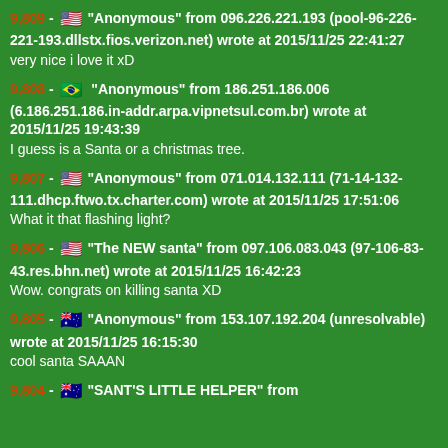9,809 - 🇺🇸 "Anonymous" from 096.226.221.193 (pool-96-226-221-193.dllstx.fios.verizon.net) wrote at 2015/11/25 22:41:27
very nice i love it xD
9,808 - 🇧🇷 "Anonymous" from 186.251.186.006 (6.186.251.186.in-addr.arpa.vipnetsul.com.br) wrote at 2015/11/25 19:43:39
I guess is a Santa or a christmas tree.
9,807 - 🇺🇸 "Anonymous" from 071.014.132.111 (71-14-132-111.dhcp.ftwo.tx.charter.com) wrote at 2015/11/25 17:51:06
What it that flashing light?
9,806 - 🇺🇸 "The NEW santa" from 097.106.083.043 (97-106-83-43.res.bhn.net) wrote at 2015/11/25 16:42:23
Wow. congrats on killing santa XD
9,805 - 🇦🇺 "Anonymous" from 153.107.192.204 (unresolvable) wrote at 2015/11/25 16:15:30
cool santa SAAAN
9,804 - 🇦🇺 "SANT'S LITTLE HELPER" from